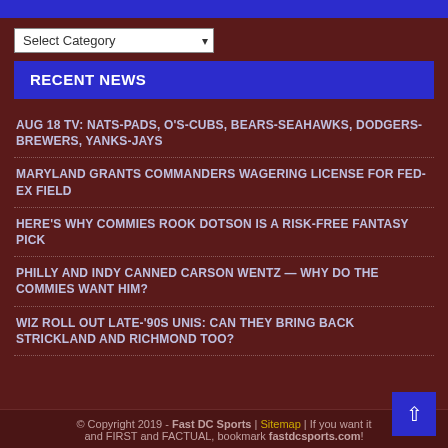Select Category
RECENT NEWS
AUG 18 TV: NATS-PADS, O'S-CUBS, BEARS-SEAHAWKS, DODGERS-BREWERS, YANKS-JAYS
MARYLAND GRANTS COMMANDERS WAGERING LICENSE FOR FED-EX FIELD
HERE'S WHY COMMIES ROOK DOTSON IS A RISK-FREE FANTASY PICK
PHILLY AND INDY CANNED CARSON WENTZ — WHY DO THE COMMIES WANT HIM?
WIZ ROLL OUT LATE-'90S UNIS: CAN THEY BRING BACK STRICKLAND AND RICHMOND TOO?
© Copyright 2019 - Fast DC Sports | Sitemap | If you want it and FIRST and FACTUAL, bookmark fastdcsports.com!